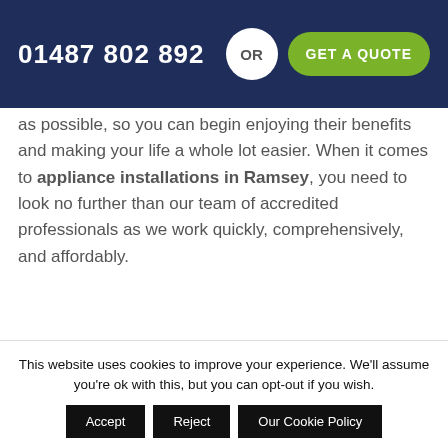01487 802 892  OR  GET A QUOTE
as possible, so you can begin enjoying their benefits and making your life a whole lot easier. When it comes to appliance installations in Ramsey, you need to look no further than our team of accredited professionals as we work quickly, comprehensively, and affordably.
During our many years of successful operation in the Ramsey area, we've carried out countless successful appliance
This website uses cookies to improve your experience. We'll assume you're ok with this, but you can opt-out if you wish.
Accept
Reject
Our Cookie Policy